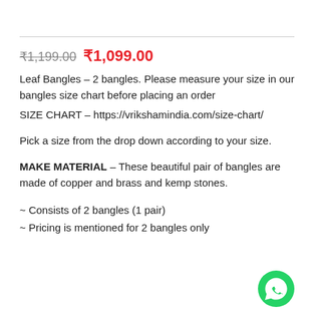₹1,199.00  ₹1,099.00
Leaf Bangles – 2 bangles. Please measure your size in our bangles size chart before placing an order
SIZE CHART – https://vrikshamindia.com/size-chart/
Pick a size from the drop down according to your size.
MAKE MATERIAL – These beautiful pair of bangles are made of copper and brass and kemp stones.
~ Consists of 2 bangles (1 pair)
~ Pricing is mentioned for 2 bangles only
If you are unsure of your bangle size,  Click here